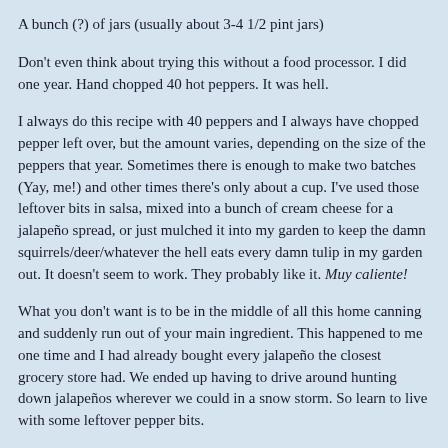A bunch (?) of jars (usually about 3-4 1/2 pint jars)
Don't even think about trying this without a food processor.  I did one year.  Hand chopped 40 hot peppers.  It was hell.
I always do this recipe with 40 peppers and I always have chopped pepper left over, but the amount varies, depending on the size of the peppers that year.  Sometimes there is enough to make two batches (Yay, me!) and other times there's only about a cup.  I've used those leftover bits in salsa, mixed into a bunch of cream cheese for a jalapeño spread, or just mulched it into my garden to keep the damn squirrels/deer/whatever the hell eats every damn tulip in my garden out.  It doesn't seem to work.  They probably like it.  Muy caliente!
What you don't want is to be in the middle of all this home canning and suddenly run out of your main ingredient.  This happened to me one time and I had already bought every jalapeño the closest grocery store had.  We ended up having to drive around hunting down jalapeños wherever we could in a snow storm.  So learn to live with some leftover pepper bits.